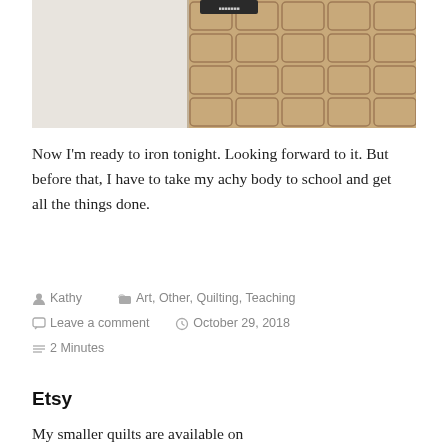[Figure (photo): Photo of quilting fabric laid on a geometric patterned tile floor. Left side shows white fluffy fabric; right side shows tan/beige hexagonal tile pattern. A dark label tag is visible at the top center.]
Now I'm ready to iron tonight. Looking forward to it. But before that, I have to take my achy body to school and get all the things done.
Kathy   Art, Other, Quilting, Teaching   Leave a comment   October 29, 2018   2 Minutes
Etsy
My smaller quilts are available on